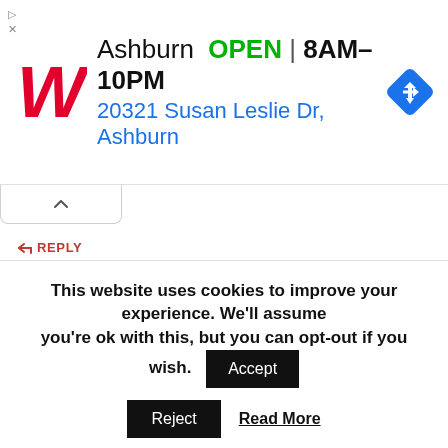[Figure (screenshot): Walgreens advertisement banner: logo, Ashburn OPEN 8AM-10PM, 20321 Susan Leslie Dr, Ashburn, navigation arrow icon]
↩ REPLY
Alan Jackson
MAY 31, 2020 AT 3:45 AM
Another Con:
My experience also is that when it comes to travel issues, you will fall to the
This website uses cookies to improve your experience. We'll assume you're ok with this, but you can opt-out if you wish.
Accept
Reject
Read More